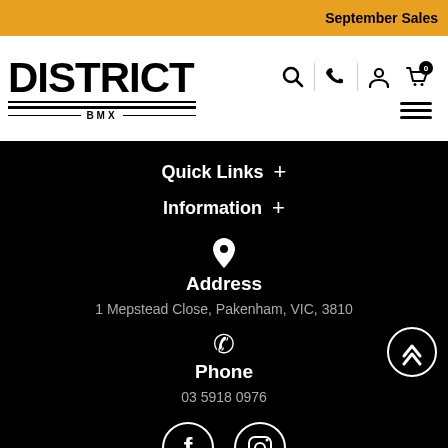September Sales
[Figure (logo): District BMX logo in black bold text with double underline and BMX text]
[Figure (infographic): Navigation icons: search, phone, account, cart (0), hamburger menu]
Quick Links +
Information +
Address
1 Mepstead Close, Pakenham, VIC, 3810
Phone
03 5918 0976
[Figure (infographic): Facebook and Instagram social media icons in white circles]